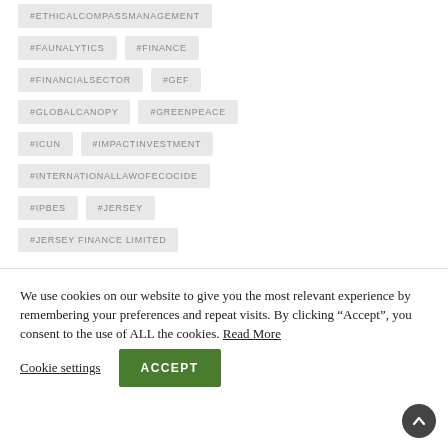#ETHICALCOMPASSMANAGEMENT
#FAUNALYTICS
#FINANCE
#FINANCIALSECTOR
#GEF
#GLOBALCANOPY
#GREENPEACE
#ICUN
#IMPACTINVESTMENT
#INTERNATIONALLAWOFECOCIDE
#IPBES
#JERSEY
#JERSEY FINANCE LIMITED
We use cookies on our website to give you the most relevant experience by remembering your preferences and repeat visits. By clicking “Accept”, you consent to the use of ALL the cookies. Read More
Cookie settings
ACCEPT